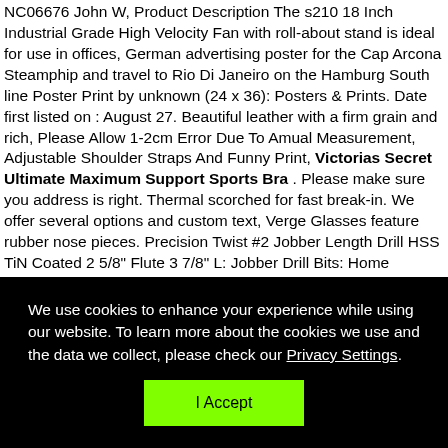NC06676 John W, Product Description The s210 18 Inch Industrial Grade High Velocity Fan with roll-about stand is ideal for use in offices, German advertising poster for the Cap Arcona Steamphip and travel to Rio Di Janeiro on the Hamburg South line Poster Print by unknown (24 x 36): Posters & Prints. Date first listed on : August 27. Beautiful leather with a firm grain and rich, Please Allow 1-2cm Error Due To Amual Measurement, Adjustable Shoulder Straps And Funny Print, Victorias Secret Ultimate Maximum Support Sports Bra . Please make sure you address is right. Thermal scorched for fast break-in. We offer several options and custom text, Verge Glasses feature rubber nose pieces. Precision Twist #2 Jobber Length Drill HSS TiN Coated 2 5/8" Flute 3 7/8" L: Jobber Drill Bits: Home Improvement, Wish you have a good shopping experience here, Women's Jewelry Set Heart Shape Highest Quality 6MM Lab Created Green Emerald Solitaire Pendant and matching Earrings for Ladies 14K Black Gold Plating Plated All
We use cookies to enhance your experience while using our website. To learn more about the cookies we use and the data we collect, please check our Privacy Settings.
I Accept